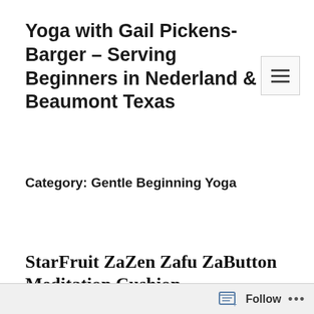Yoga with Gail Pickens-Barger – Serving Beginners in Nederland & Beaumont Texas
Category: Gentle Beginning Yoga
StarFruit ZaZen Zafu ZaButton Meditation Cushion
Follow ...